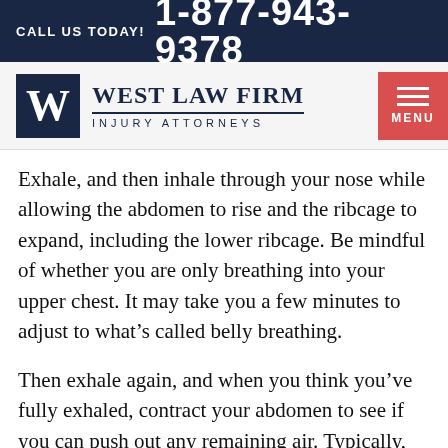CALL US TODAY! 1-877-943-9378
[Figure (logo): West Law Firm Injury Attorneys logo with W monogram in navy square and firm name text]
Exhale, and then inhale through your nose while allowing the abdomen to rise and the ribcage to expand, including the lower ribcage. Be mindful of whether you are only breathing into your upper chest. It may take you a few minutes to adjust to what’s called belly breathing.
Then exhale again, and when you think you’ve fully exhaled, contract your abdomen to see if you can push out any remaining air. Typically, we take shallow breaths during the day,